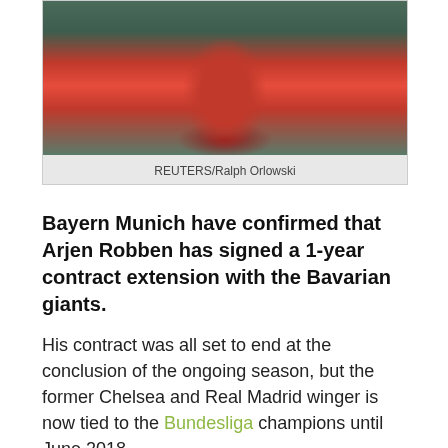[Figure (photo): Soccer player in red Bayern Munich kit raising hand, photographed mid-action in stadium]
REUTERS/Ralph Orlowski
Bayern Munich have confirmed that Arjen Robben has signed a 1-year contract extension with the Bavarian giants.
His contract was all set to end at the conclusion of the ongoing season, but the former Chelsea and Real Madrid winger is now tied to the Bundesliga champions until June 2018.
Robben joined team-mates Franck Ribery, Robert Lewandowski and Rafinha as he agreed on the new terms with the club during Germany's winter break.
“I am happy that I will be playing another year at FC